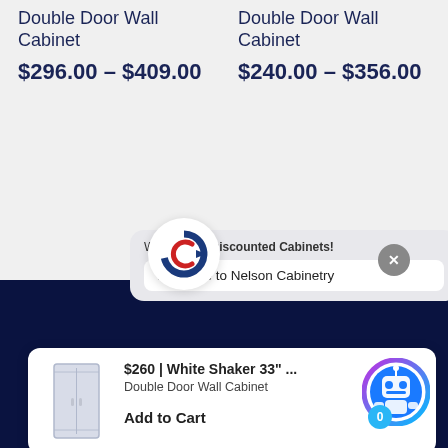Double Door Wall Cabinet
$296.00 – $409.00
Double Door Wall Cabinet
$240.00 – $356.00
[Figure (logo): Discounted Cabinets logo circle with blue and red arrow/C icon]
Welcome to Discounted Cabinets!
Welcome to Nelson Cabinetry
[Figure (photo): White shaker double door wall cabinet product image]
$260 | White Shaker 33" ...
Double Door Wall Cabinet
Add to Cart
[Figure (illustration): Blue robot chat assistant icon with circular gradient border and badge showing 0]